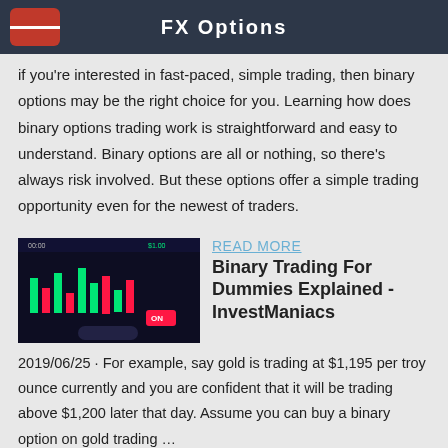FX Options
if you're interested in fast-paced, simple trading, then binary options may be the right choice for you. Learning how does binary options trading work is straightforward and easy to understand. Binary options are all or nothing, so there's always risk involved. But these options offer a simple trading opportunity even for the newest of traders.
[Figure (screenshot): Screenshot of a mobile trading app showing candlestick/bar charts with green and red bars on a dark background, with trading interface elements including buttons.]
READ MORE
Binary Trading For Dummies Explained - InvestManiacs
2019/06/25 · For example, say gold is trading at $1,195 per troy ounce currently and you are confident that it will be trading above $1,200 later that day. Assume you can buy a binary option on gold trading …
[Figure (screenshot): Partially visible thumbnail image at bottom of page, gray/light colored.]
READ MORE